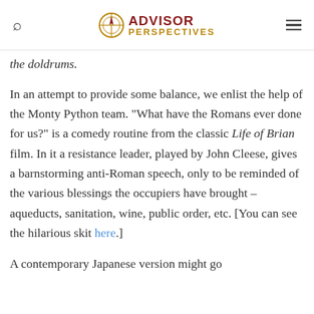ADVISOR PERSPECTIVES
the doldrums.
In an attempt to provide some balance, we enlist the help of the Monty Python team. “What have the Romans ever done for us?” is a comedy routine from the classic Life of Brian film. In it a resistance leader, played by John Cleese, gives a barnstorming anti-Roman speech, only to be reminded of the various blessings the occupiers have brought – aqueducts, sanitation, wine, public order, etc. [You can see the hilarious skit here.]
A contemporary Japanese version might go